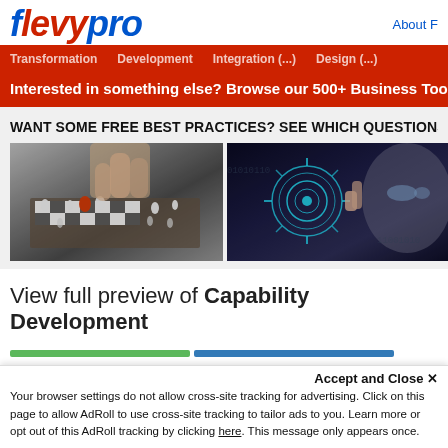flevypro
About F
Transformation   Development   Integration (...)   Design (...)
Interested in something else? Browse our 500+ Business Too
WANT SOME FREE BEST PRACTICES? SEE WHICH QUESTIONS BE
[Figure (photo): Chess pieces on a board, hands moving a piece, black and white chess set photographed from above]
[Figure (photo): Woman's face with digital technology overlay — circular target/gear graphics in teal/white on dark background]
View full preview of Capability Development
Accept and Close ×
Your browser settings do not allow cross-site tracking for advertising. Click on this page to allow AdRoll to use cross-site tracking to tailor ads to you. Learn more or opt out of this AdRoll tracking by clicking here. This message only appears once.